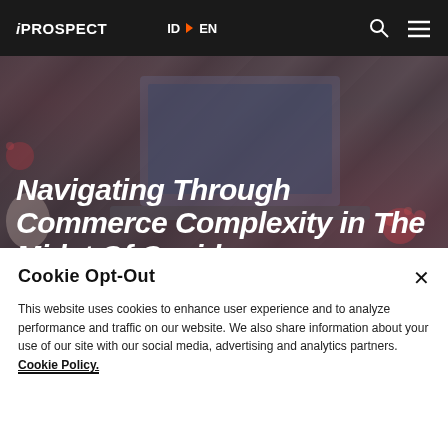iPROSPECT | ID EN
[Figure (photo): Hero image showing a laptop and covid virus particles in a muted dark overlay background]
Navigating Through Commerce Complexity in The Midst Of Covid-
Cookie Opt-Out
This website uses cookies to enhance user experience and to analyze performance and traffic on our website. We also share information about your use of our site with our social media, advertising and analytics partners. Cookie Policy.
Cookie Settings